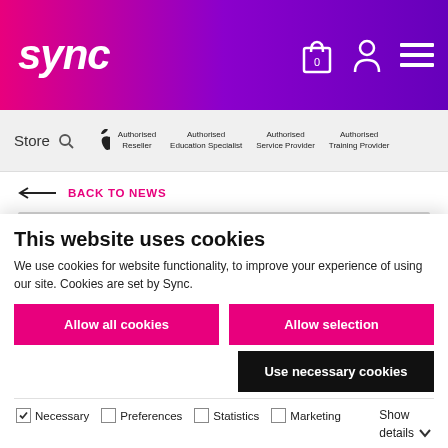sync — Authorised Reseller | Authorised Education Specialist | Authorised Service Provider | Authorised Training Provider
Store
← BACK TO NEWS
[Figure (photo): Gray image placeholder banner]
This website uses cookies
We use cookies for website functionality, to improve your experience of using our site. Cookies are set by Sync.
Allow all cookies | Allow selection | Use necessary cookies
☑ Necessary  ☐ Preferences  ☐ Statistics  ☐ Marketing   Show details ∨